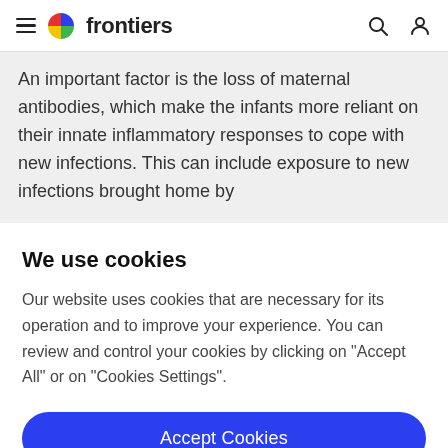frontiers
An important factor is the loss of maternal antibodies, which make the infants more reliant on their innate inflammatory responses to cope with new infections. This can include exposure to new infections brought home by
We use cookies
Our website uses cookies that are necessary for its operation and to improve your experience. You can review and control your cookies by clicking on "Accept All" or on "Cookies Settings".
Accept Cookies
Cookies Settings